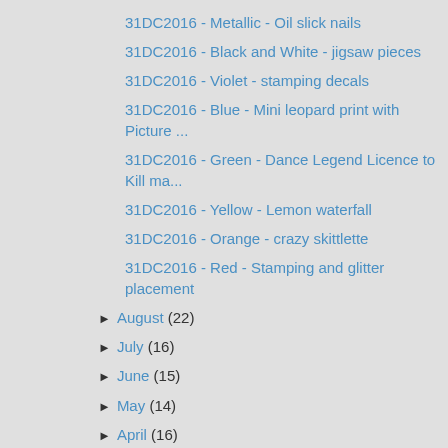31DC2016 - Metallic - Oil slick nails
31DC2016 - Black and White - jigsaw pieces
31DC2016 - Violet - stamping decals
31DC2016 - Blue - Mini leopard print with Picture ...
31DC2016 - Green - Dance Legend Licence to Kill ma...
31DC2016 - Yellow - Lemon waterfall
31DC2016 - Orange - crazy skittlette
31DC2016 - Red - Stamping and glitter placement
► August (22)
► July (16)
► June (15)
► May (14)
► April (16)
► March (14)
► February (16)
► January (20)
► 2015 (230)
► 2014 (325)
► 2013 (375)